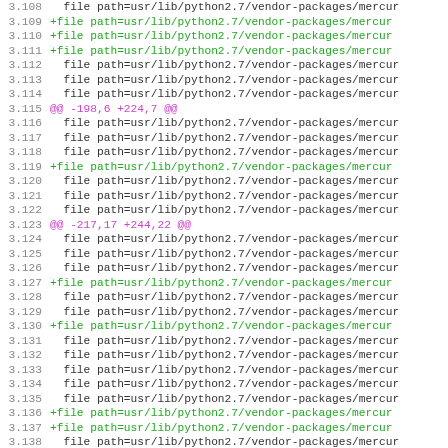Code diff showing file additions in usr/lib/python2.7/vendor-packages/mercur lines 3.108 through 3.140
3.108  file path=usr/lib/python2.7/vendor-packages/mercur
3.109 +file path=usr/lib/python2.7/vendor-packages/mercur
3.110 +file path=usr/lib/python2.7/vendor-packages/mercur
3.111 +file path=usr/lib/python2.7/vendor-packages/mercur
3.112  file path=usr/lib/python2.7/vendor-packages/mercur
3.113  file path=usr/lib/python2.7/vendor-packages/mercur
3.114  file path=usr/lib/python2.7/vendor-packages/mercur
3.115 @@ -198,6 +224,7 @@
3.116  file path=usr/lib/python2.7/vendor-packages/mercur
3.117  file path=usr/lib/python2.7/vendor-packages/mercur
3.118  file path=usr/lib/python2.7/vendor-packages/mercur
3.119 +file path=usr/lib/python2.7/vendor-packages/mercur
3.120  file path=usr/lib/python2.7/vendor-packages/mercur
3.121  file path=usr/lib/python2.7/vendor-packages/mercur
3.122  file path=usr/lib/python2.7/vendor-packages/mercur
3.123 @@ -217,17 +244,22 @@
3.124  file path=usr/lib/python2.7/vendor-packages/mercur
3.125  file path=usr/lib/python2.7/vendor-packages/mercur
3.126  file path=usr/lib/python2.7/vendor-packages/mercur
3.127 +file path=usr/lib/python2.7/vendor-packages/mercur
3.128  file path=usr/lib/python2.7/vendor-packages/mercur
3.129  file path=usr/lib/python2.7/vendor-packages/mercur
3.130 +file path=usr/lib/python2.7/vendor-packages/mercur
3.131  file path=usr/lib/python2.7/vendor-packages/mercur
3.132  file path=usr/lib/python2.7/vendor-packages/mercur
3.133  file path=usr/lib/python2.7/vendor-packages/mercur
3.134  file path=usr/lib/python2.7/vendor-packages/mercur
3.135  file path=usr/lib/python2.7/vendor-packages/mercur
3.136 +file path=usr/lib/python2.7/vendor-packages/mercur
3.137 +file path=usr/lib/python2.7/vendor-packages/mercur
3.138  file path=usr/lib/python2.7/vendor-packages/mercur
3.139  file path=usr/lib/python2.7/vendor-packages/mercur
3.140  file path=usr/lib/python2.7/vendor-packages/mercur